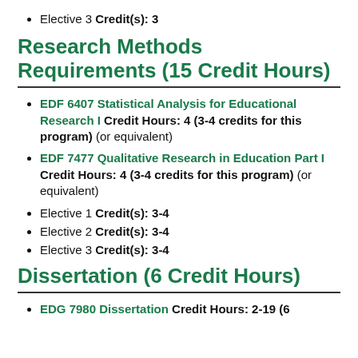Elective 3 Credit(s): 3
Research Methods Requirements (15 Credit Hours)
EDF 6407 Statistical Analysis for Educational Research I Credit Hours: 4 (3-4 credits for this program) (or equivalent)
EDF 7477 Qualitative Research in Education Part I Credit Hours: 4 (3-4 credits for this program) (or equivalent)
Elective 1 Credit(s): 3-4
Elective 2 Credit(s): 3-4
Elective 3 Credit(s): 3-4
Dissertation (6 Credit Hours)
EDG 7980 Dissertation Credit Hours: 2-19 (6